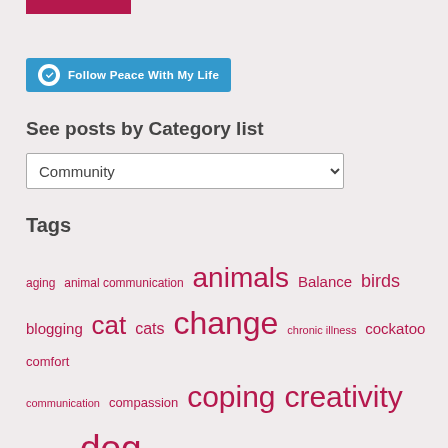[Figure (logo): Red horizontal bar logo at top]
Follow Peace With My Life
See posts by Category list
Community (dropdown selector)
Tags
aging animal communication animals Balance birds blogging cat cats change chronic illness cockatoo comfort communication compassion coping creativity death dog dogs Dreams and Aspirations family fear Friendship